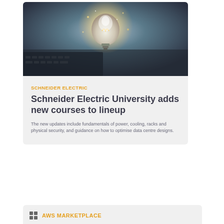[Figure (photo): Photo of a glowing light bulb on a laptop keyboard against a dark background with bokeh light effects]
SCHNEIDER ELECTRIC
Schneider Electric University adds new courses to lineup
The new updates include fundamentals of power, cooling, racks and physical security, and guidance on how to optimise data centre designs.
AWS MARKETPLACE